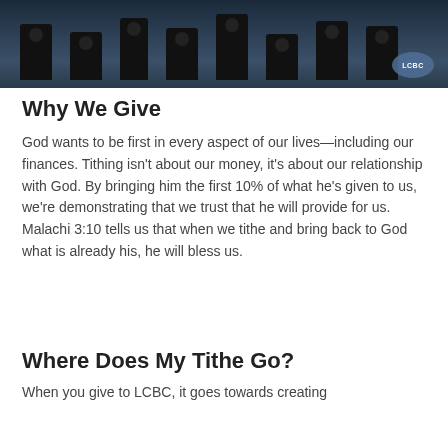[Figure (photo): Dark photo strip showing speaker silhouettes on stage with LCBC logo badge in lower right corner]
Why We Give
God wants to be first in every aspect of our lives—including our finances. Tithing isn't about our money, it's about our relationship with God. By bringing him the first 10% of what he's given to us, we're demonstrating that we trust that he will provide for us. Malachi 3:10 tells us that when we tithe and bring back to God what is already his, he will bless us.
Where Does My Tithe Go?
When you give to LCBC, it goes towards creating